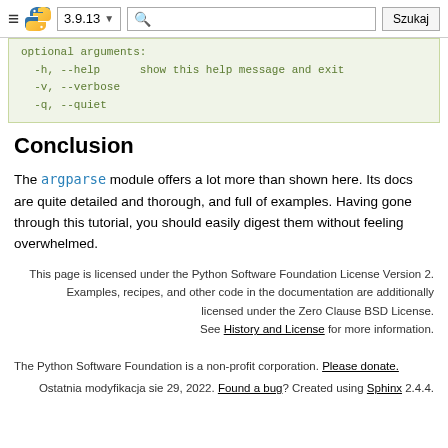3.9.13 | Szukaj
optional arguments:
  -h, --help      show this help message and exit
  -v, --verbose
  -q, --quiet
Conclusion
The argparse module offers a lot more than shown here. Its docs are quite detailed and thorough, and full of examples. Having gone through this tutorial, you should easily digest them without feeling overwhelmed.
This page is licensed under the Python Software Foundation License Version 2.
Examples, recipes, and other code in the documentation are additionally licensed under the Zero Clause BSD License.
See History and License for more information.
The Python Software Foundation is a non-profit corporation. Please donate.
Ostatnia modyfikacja sie 29, 2022. Found a bug? Created using Sphinx 2.4.4.